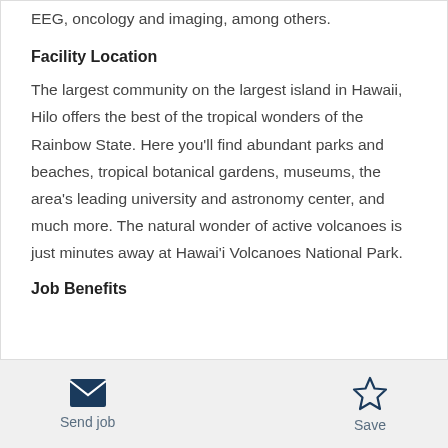EEG, oncology and imaging, among others.
Facility Location
The largest community on the largest island in Hawaii, Hilo offers the best of the tropical wonders of the Rainbow State. Here you'll find abundant parks and beaches, tropical botanical gardens, museums, the area's leading university and astronomy center, and much more. The natural wonder of active volcanoes is just minutes away at Hawai'i Volcanoes National Park.
Job Benefits